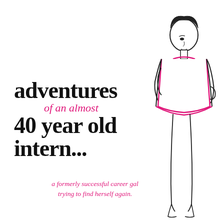adventures of an almost 40 year old intern...
[Figure (illustration): Line drawing illustration of a woman with short hair wearing a sleeveless dress with pink/magenta outline trim, standing with one hand on hip. The figure is drawn in a fashion sketch style with black ink lines and pink/magenta color accents on the dress.]
a formerly successful career gal trying to find herself again.